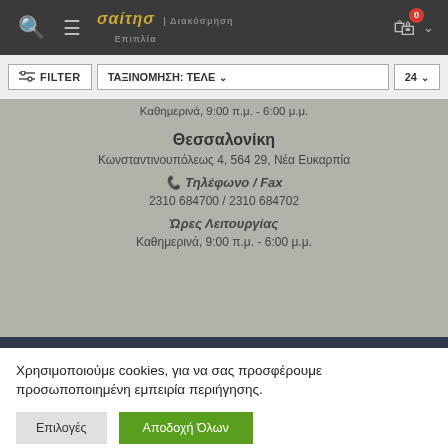Σαΐτης (logo/header with search, menu, cart)
FILTER | ΤΑΞΙΝΟΜΗΣΗ: ΤΕΛΕ ∨ | 24 ∨
Καθημερινά, 9:00 π.μ. - 6:00 μ.μ.
Θεσσαλονίκη
Κωνσταντινουπόλεως 4, 564 29, Νέα Ευκαρπία
📞 Τηλέφωνο / Fax
2310 684700 / 2310 684702
Ώρες Λειτουργίας
Καθημερινά, 9:00 π.μ. - 6:00 μ.μ.
Χρησιμοποιούμε cookies, για να σας προσφέρουμε προσωποποιημένη εμπειρία περιήγησης.
Επιλογές | Αποδοχή Όλων